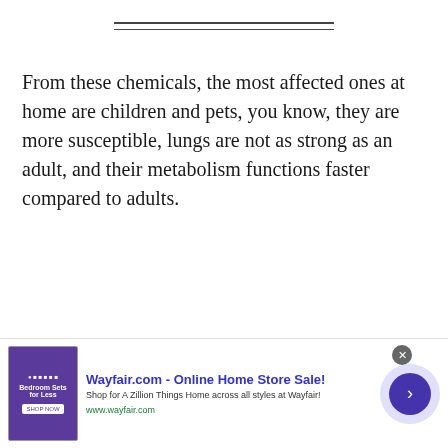From these chemicals, the most affected ones at home are children and pets, you know, they are more susceptible, lungs are not as strong as an adult, and their metabolism functions faster compared to adults.
Wayfair.com - Online Home Store Sale! Shop for A Zillion Things Home across all styles at Wayfair! www.wayfair.com